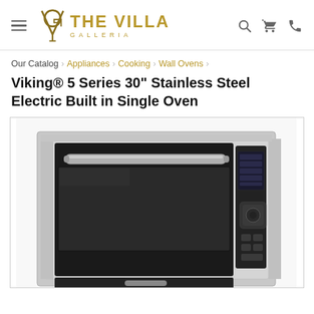THE VILLA GALLERIA
Our Catalog › Appliances › Cooking › Wall Ovens ›
Viking® 5 Series 30" Stainless Steel Electric Built in Single Oven
[Figure (photo): Viking 5 Series 30-inch stainless steel electric built-in single wall oven, showing the front face with black glass door, stainless steel handle, and control panel on the right side.]